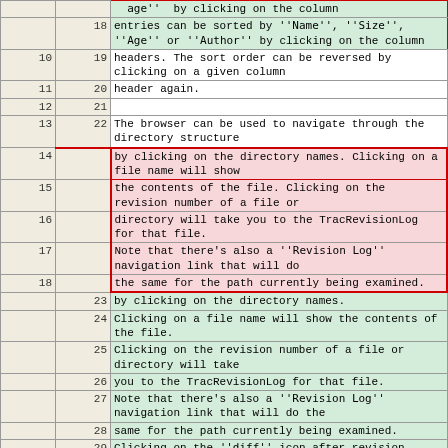| col1 | col2 | content |
| --- | --- | --- |
|  | 18 | entries can be sorted by ''Name'', ''Size'', ''Age'' or ''Author'' by clicking on the column |
| 10 | 19 | headers. The sort order can be reversed by clicking on a given column |
| 11 | 20 | header again. |
| 12 | 21 |  |
| 13 | 22 | The browser can be used to navigate through the directory structure |
| 14 |  | by clicking on the directory names. Clicking on a file name will show |
| 15 |  | the contents of the file. Clicking on the revision number of a file or |
| 16 |  | directory will take you to the TracRevisionLog for that file. |
| 17 |  | Note that there's also a ''Revision Log'' navigation link that will do |
| 18 |  | the same for the path currently being examined. |
|  | 23 | by clicking on the directory names. |
|  | 24 | Clicking on a file name will show the contents of the file. |
|  | 25 | Clicking on the revision number of a file or directory will take |
|  | 26 | you to the TracRevisionLog for that file. |
|  | 27 | Note that there's also a ''Revision Log'' navigation link that will do the |
|  | 28 | same for the path currently being examined. |
|  | 29 | Clicking on the ''diff'' icon after revision number will display the changes made |
|  | 30 | to the files modified in that revision. |
|  | 31 | Clicking on the ''Age'' of the file - will take you to that changeset in the timeline. |
| 19 | 32 |  |
| 20 | 33 | It's also possible to browse directories or files |